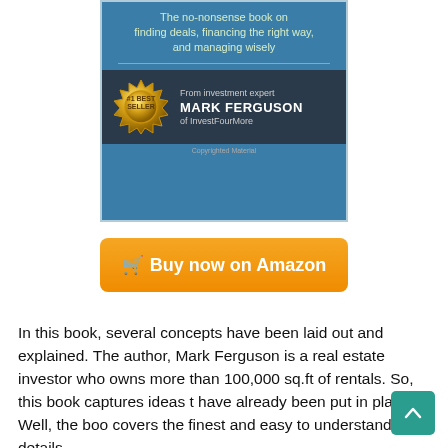[Figure (illustration): Book cover for a real estate investment book by Mark Ferguson of InvestFourMore. Blue background with subtitle 'The no-nonsense book on finding deals, financing the right way, and managing wisely'. Dark bottom bar with #1 Best Seller gold badge and author name MARK FERGUSON of InvestFourMore.]
🛒 Buy now on Amazon
In this book, several concepts have been laid out and explained. The author, Mark Ferguson is a real estate investor who owns more than 100,000 sq.ft of rentals. So, this book captures ideas that have already been put in place. Well, the book covers the finest and easy to understand details